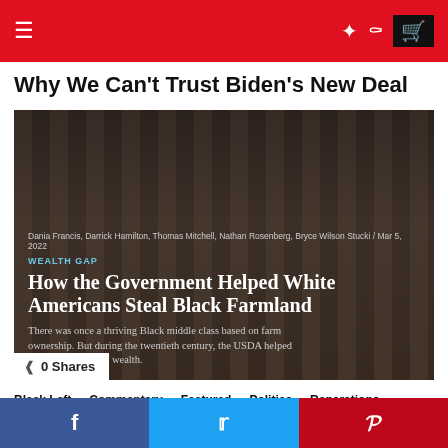Navigation header with menu, share, search, and cart icons
Why We Can't Trust Biden's New Deal
[Figure (screenshot): Article thumbnail showing a government building facade with overlaid article headline: 'How the Government Helped White Americans Steal Black Farmland', byline by Dania Francis, Darrick Hamilton, Thomas Mitchell, Nathan Rosenberg, Bryce Wilson Stucki / Mar 5, 2022. Subtitle: There was once a thriving Black middle class based on farm ownership. But during the twentieth century, the USDA helped erase that source of wealth. WEALTH GAP label shown. 0 Shares shown at bottom left.]
Black Left
Commentary
Featured
Politics
Reparations
Video
Reset Race University: How the Government Helped White Americans Steal Black Farmland
Social sharing footer: Facebook, Twitter, Pinterest